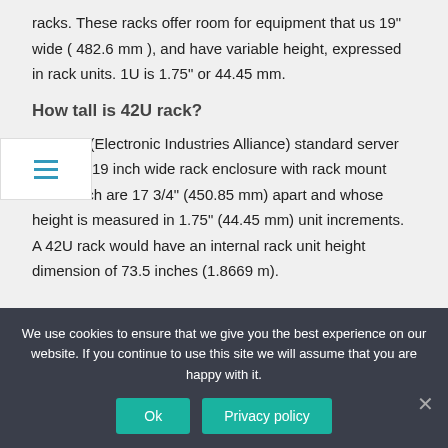racks. These racks offer room for equipment that us 19" wide ( 482.6 mm ), and have variable height, expressed in rack units. 1U is 1.75" or 44.45 mm.
How tall is 42U rack?
The EIA (Electronic Industries Alliance) standard server rack is a 19 inch wide rack enclosure with rack mount rails which are 17 3/4" (450.85 mm) apart and whose height is measured in 1.75" (44.45 mm) unit increments. A 42U rack would have an internal rack unit height dimension of 73.5 inches (1.8669 m).
We use cookies to ensure that we give you the best experience on our website. If you continue to use this site we will assume that you are happy with it.